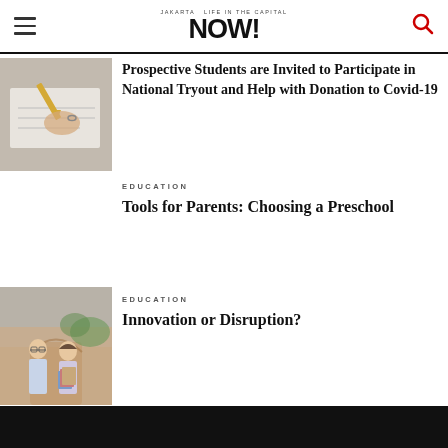Jakarta NOW! — Life in the capital
[Figure (photo): Hands writing with a pencil on paper]
Prospective Students are Invited to Participate in National Tryout and Help with Donation to Covid-19
EDUCATION
Tools for Parents: Choosing a Preschool
[Figure (photo): Two students in school uniforms, a boy and a girl, walking together with books]
EDUCATION
Innovation or Disruption?